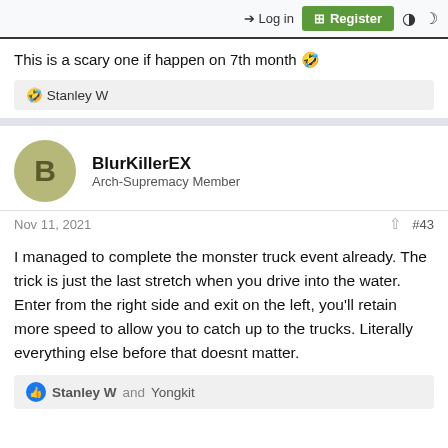Login  Register
This is a scary one if happen on 7th month 🤣
🤣 Stanley W
BlurKillerEX
Arch-Supremacy Member
Nov 11, 2021  #43
I managed to complete the monster truck event already. The trick is just the last stretch when you drive into the water. Enter from the right side and exit on the left, you'll retain more speed to allow you to catch up to the trucks. Literally everything else before that doesnt matter.
👍 Stanley W and Yongkit